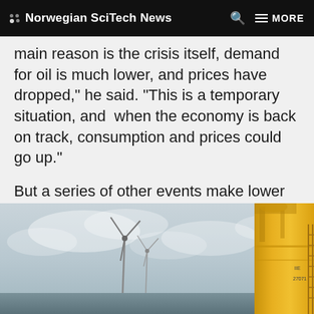Norwegian SciTech News
main reason is the crisis itself, demand for oil is much lower, and prices have dropped," he said. "This is a temporary situation, and when the economy is back on track, consumption and prices could go up."
But a series of other events make lower oil prices almost certain to persist over time, he said.
[Figure (photo): Offshore wind turbine in the sea with cloudy sky, and a yellow industrial structure (likely an oil platform component) on the right side of the frame.]